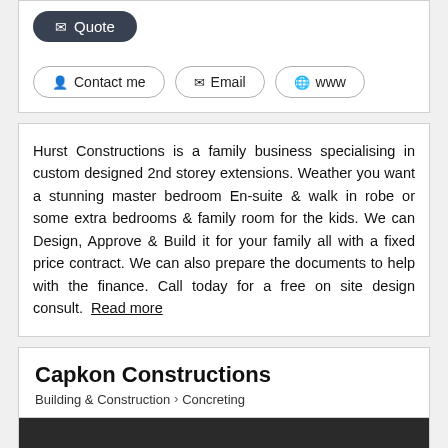[Figure (other): Quote button (dark pill-shaped button with envelope icon)]
[Figure (other): Three action buttons: Contact me, Email, www]
Hurst Constructions is a family business specialising in custom designed 2nd storey extensions. Weather you want a stunning master bedroom En-suite & walk in robe or some extra bedrooms & family room for the kids. We can Design, Approve & Build it for your family all with a fixed price contract. We can also prepare the documents to help with the finance. Call today for a free on site design consult. Read more
Capkon Constructions
Building & Construction > Concreting
[Figure (photo): Construction site photo showing a concrete foundation/footing structure with dark fence/wall in the background, sandy soil, white chairs on the left, and a metal beam/pipe on the right side.]